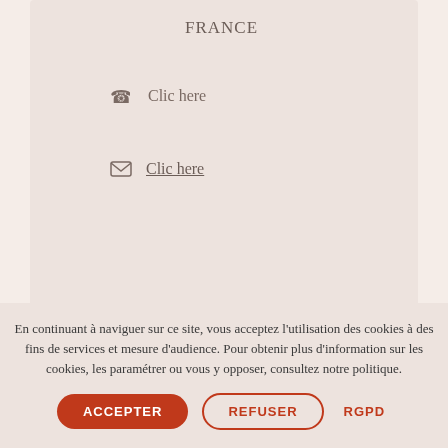FRANCE
Clic here
Clic here
© Bio Digital 2021
En continuant à naviguer sur ce site, vous acceptez l'utilisation des cookies à des fins de services et mesure d'audience. Pour obtenir plus d'information sur les cookies, les paramétrer ou vous y opposer, consultez notre politique.
ACCEPTER
REFUSER
RGPD